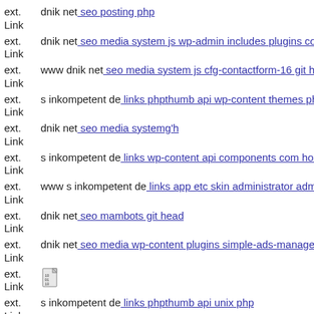ext. Link dnik net: seo posting php
ext. Link dnik net: seo media system js wp-admin includes plugins conte
ext. Link www dnik net: seo media system js cfg-contactform-16 git hea
ext. Link s inkompetent de: links phpthumb api wp-content themes photo
ext. Link dnik net: seo media systemg'h
ext. Link s inkompetent de: links wp-content api components com horton
ext. Link www s inkompetent de: links app etc skin administrator admin
ext. Link dnik net: seo mambots git head
ext. Link dnik net: seo media wp-content plugins simple-ads-manager re
ext. Link [binary file icon]
ext. Link s inkompetent de: links phpthumb api unix php